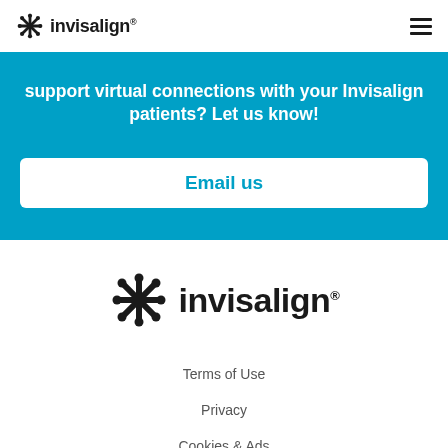invisalign
support virtual connections with your Invisalign patients? Let us know!
Email us
[Figure (logo): Invisalign logo — snowflake asterisk icon with 'invisalign' wordmark in black]
Terms of Use
Privacy
Cookies & Ads